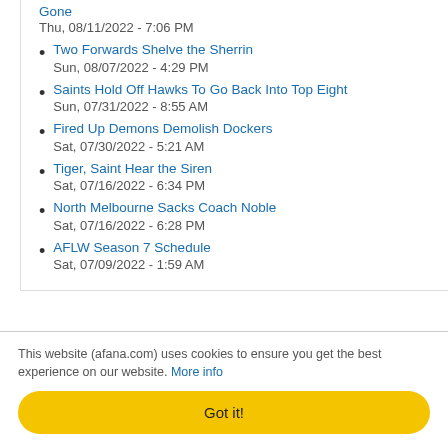Gone
Thu, 08/11/2022 - 7:06 PM
Two Forwards Shelve the Sherrin
Sun, 08/07/2022 - 4:29 PM
Saints Hold Off Hawks To Go Back Into Top Eight
Sun, 07/31/2022 - 8:55 AM
Fired Up Demons Demolish Dockers
Sat, 07/30/2022 - 5:21 AM
Tiger, Saint Hear the Siren
Sat, 07/16/2022 - 6:34 PM
North Melbourne Sacks Coach Noble
Sat, 07/16/2022 - 6:28 PM
AFLW Season 7 Schedule
Sat, 07/09/2022 - 1:59 AM
This website (afana.com) uses cookies to ensure you get the best experience on our website. More info
Got it!